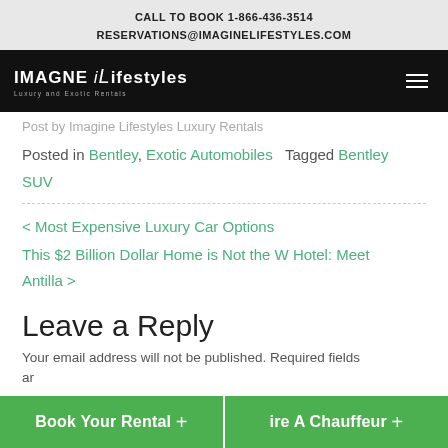CALL TO BOOK 1-866-436-3514
RESERVATIONS@IMAGINELIFESTYLES.COM
[Figure (logo): Imagine Lifestyles logo with navigation bar on black background]
Post by Imagine Lifestyles Luxury Rentals
Posted in Bentley, Exotic Automobiles   Tagged Bentley SUV
< Most Expensive Luxury Car Options
This $2 Billion Dollar Home is Not the W Hotel: Meet Antilla >
Leave a Reply
Your email address will not be published. Required fields are
Book Your Rental  +    ire A Chauffeur  +